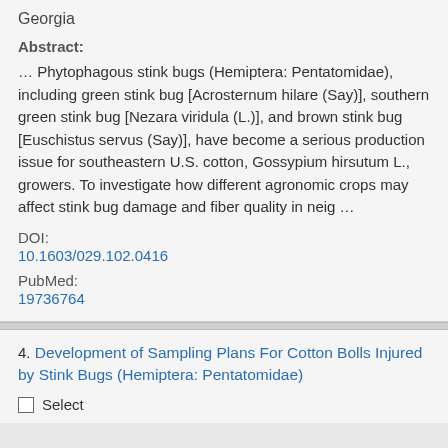Georgia
Abstract:
… Phytophagous stink bugs (Hemiptera: Pentatomidae), including green stink bug [Acrosternum hilare (Say)], southern green stink bug [Nezara viridula (L.)], and brown stink bug [Euschistus servus (Say)], have become a serious production issue for southeastern U.S. cotton, Gossypium hirsutum L., growers. To investigate how different agronomic crops may affect stink bug damage and fiber quality in neig …
DOI: 10.1603/029.102.0416
PubMed: 19736764
4. Development of Sampling Plans For Cotton Bolls Injured by Stink Bugs (Hemiptera: Pentatomidae)
Select